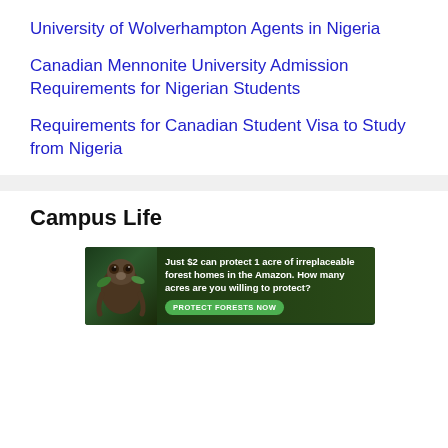University of Wolverhampton Agents in Nigeria
Canadian Mennonite University Admission Requirements for Nigerian Students
Requirements for Canadian Student Visa to Study from Nigeria
Campus Life
[Figure (other): Advertisement banner: 'Just $2 can protect 1 acre of irreplaceable forest homes in the Amazon. How many acres are you willing to protect?' with a sloth image and a green 'PROTECT FORESTS NOW' button.]